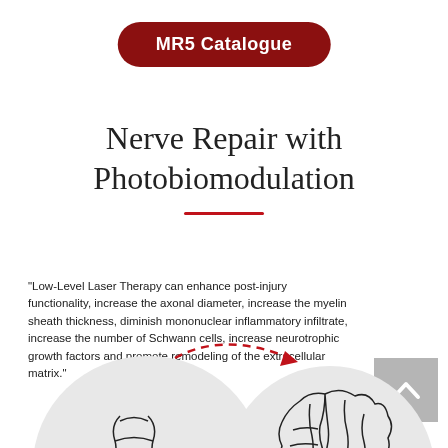MR5 Catalogue
Nerve Repair with Photobiomodulation
“Low-Level Laser Therapy can enhance post-injury functionality, increase the axonal diameter, increase the myelin sheath thickness, diminish mononuclear inflammatory infiltrate, increase the number of Schwann cells, increase neurotrophic growth factors and promote remodeling of the extracellular matrix.”
[Figure (illustration): Two circular grey illustrations of brain/nerve tissue connected by a red dashed curved arrow indicating signal or repair pathway between two anatomical structures.]